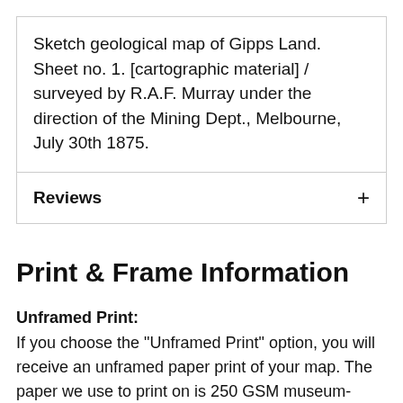Sketch geological map of Gipps Land. Sheet no. 1. [cartographic material] / surveyed by R.A.F. Murray under the direction of the Mining Dept., Melbourne, July 30th 1875.
Reviews
Print & Frame Information
Unframed Print:
If you choose the "Unframed Print" option, you will receive an unframed paper print of your map. The paper we use to print on is 250 GSM museum-quality, thick, durable, matte paper